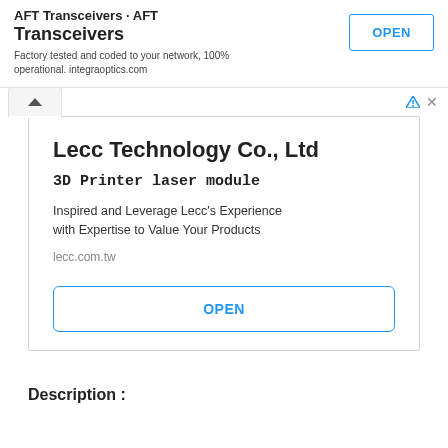Transceivers
Factory tested and coded to your network, 100% operational. integraoptics.com
[Figure (screenshot): Advertisement banner for Lecc Technology Co., Ltd featuring 3D Printer laser module with OPEN button]
Description :